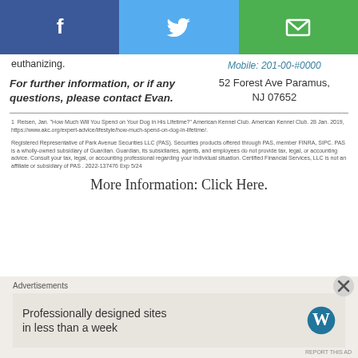[Figure (infographic): Social sharing bar with Facebook (blue), Twitter (light blue), and email/envelope (green) buttons showing white icons]
euthanizing.
For further information, or if any questions, please contact Evan.
Mobile: 201-00-#0000
52 Forest Ave Paramus, NJ 07652
1  Reisen, Jan. "How Much Will You Spend on Your Dog in His Lifetime?" American Kennel Club. American Kennel Club. 28 Jan. 2019, https://www.akc.org/expert-advice/lifestyle/how-much-spend-on-dog-in-lifetime/.
Registered Representative of Park Avenue Securities LLC (PAS). Securities products offered through PAS, member FINRA, SIPC. PAS is a wholly-owned subsidiary of Guardian. Guardian, its subsidiaries, agents, and employees do not provide tax, legal, or accounting advice. Consult your tax, legal, or accounting professional regarding your individual situation. Certified Financial Services, LLC is not an affiliate or subsidiary of PAS . 2022-137476 Exp 5/24
More Information: Click Here.
Advertisements
Professionally designed sites in less than a week